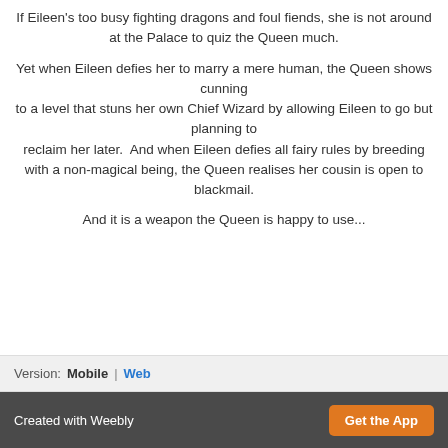If Eileen's too busy fighting dragons and foul fiends, she is not around at the Palace to quiz the Queen much.
Yet when Eileen defies her to marry a mere human, the Queen shows cunning to a level that stuns her own Chief Wizard by allowing Eileen to go but planning to reclaim her later.  And when Eileen defies all fairy rules by breeding with a non-magical being, the Queen realises her cousin is open to blackmail.
And it is a weapon the Queen is happy to use...
Version:  Mobile  |  Web
Created with Weebly  Get the App